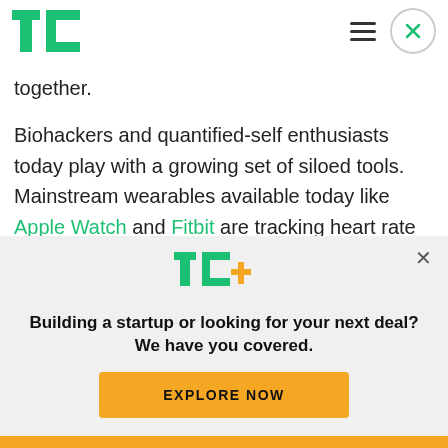TechCrunch header with logo, hamburger menu, and close button
together.
Biohackers and quantified-self enthusiasts today play with a growing set of siloed tools. Mainstream wearables available today like Apple Watch and Fitbit are tracking heart rate and the number of footsteps taken.
[Figure (logo): TechCrunch TC+ logo in green with orange plus sign]
Building a startup or looking for your next deal? We have you covered.
EXPLORE NOW